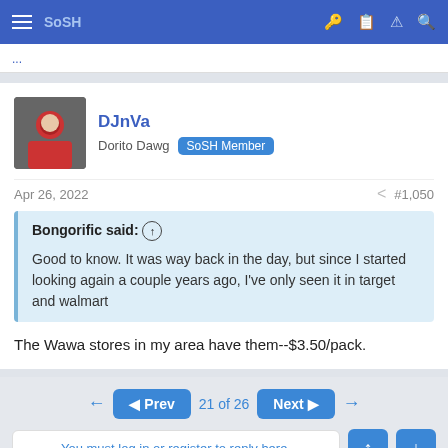SoSH (navigation bar)
DJnVa
Dorito Dawg  SoSH Member
Apr 26, 2022	#1,050
Bongorific said: ⊕

Good to know. It was way back in the day, but since I started looking again a couple years ago, I've only seen it in target and walmart
The Wawa stores in my area have them--$3.50/pack.
◄ Prev  21 of 26  Next ►
You must log in or register to reply here.